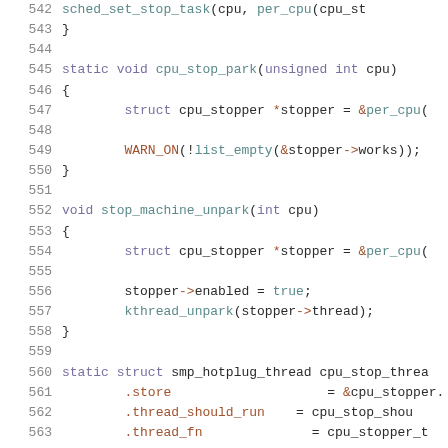[Figure (screenshot): Source code listing showing C kernel code lines 542-563, with syntax highlighting. Functions include cpu_stop_park, stop_machine_unpark, and struct smp_hotplug_thread cpu_stop_thread definition.]